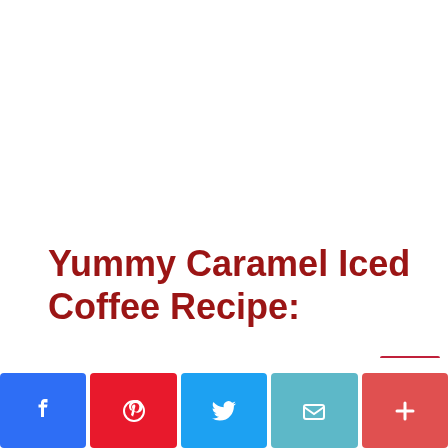Yummy Caramel Iced Coffee Recipe:
[Figure (other): Social media share buttons bar: Facebook (blue), Pinterest (red), Twitter (blue), Email (light blue), More/Plus (coral red)]